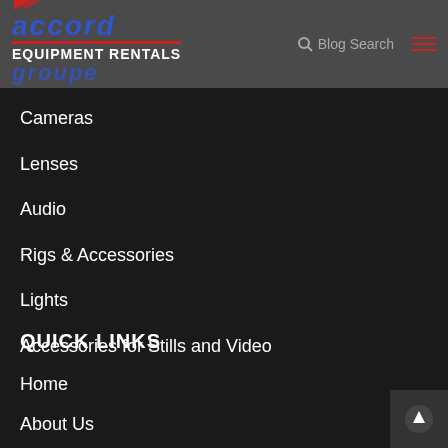accord groupe EQUIPMENT RENTALS | Blog Search
Cameras
Lenses
Audio
Rigs & Accessories
Lights
Accessories for Stills and Video
QUICK LINKS
Home
About Us
Service
Team
Contact Us